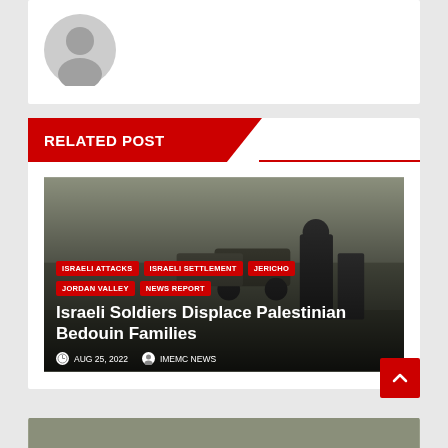[Figure (illustration): Grey circular avatar/silhouette icon (default user profile image) on white card background]
RELATED POST
[Figure (photo): Israeli soldiers in military gear with vehicles in desert terrain background. Article card with tags: ISRAELI ATTACKS, ISRAELI SETTLEMENT, JERICHO, JORDAN VALLEY, NEWS REPORT]
Israeli Soldiers Displace Palestinian Bedouin Families
AUG 25, 2022   IMEMC NEWS